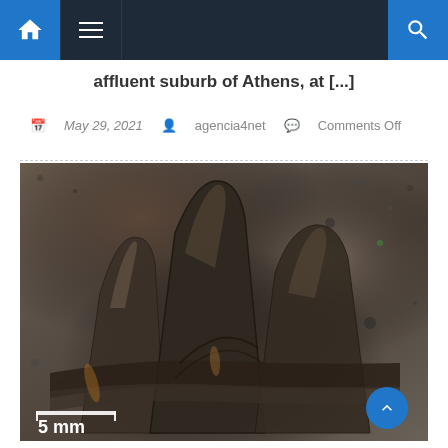Navigation bar with home, menu, and search icons
affluent suburb of Athens, at [...]
May 29, 2021   agencia4net   Comments Off
[Figure (photo): Close-up photograph of a fossilized tooth or jaw fragment embedded in rock matrix, showing multiple cusps/ridges. Scale bar reads '5 mm' in white text at the bottom left.]